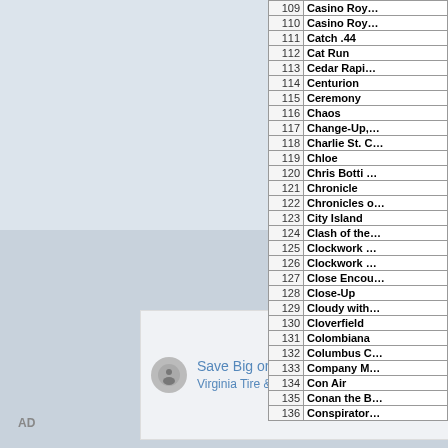[Figure (screenshot): Advertisement panel showing 'Save Big on Goodyear Tires - Virginia Tire & Auto of Ashburn' with an AD label in the lower left. The left portion of the page is a light blue-gray background with two tonal sections.]
| # | Title |
| --- | --- |
| 109 | Casino Roy... |
| 110 | Casino Roy... |
| 111 | Catch .44 |
| 112 | Cat Run |
| 113 | Cedar Rapi... |
| 114 | Centurion |
| 115 | Ceremony |
| 116 | Chaos |
| 117 | Change-Up,... |
| 118 | Charlie St. C... |
| 119 | Chloe |
| 120 | Chris Botti ... |
| 121 | Chronicle |
| 122 | Chronicles o... |
| 123 | City Island |
| 124 | Clash of the... |
| 125 | Clockwork ... |
| 126 | Clockwork ... |
| 127 | Close Encou... |
| 128 | Close-Up |
| 129 | Cloudy with... |
| 130 | Cloverfield |
| 131 | Colombiana |
| 132 | Columbus C... |
| 133 | Company M... |
| 134 | Con Air |
| 135 | Conan the B... |
| 136 | Conspirator... |